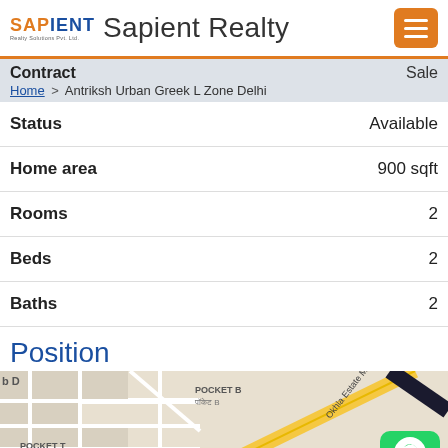Sapient Realty
Contract  Sale
Home > Antriksh Urban Greek L Zone Delhi
| Property Detail | Value |
| --- | --- |
| Status | Available |
| Home area | 900 sqft |
| Rooms | 2 |
| Beds | 2 |
| Baths | 2 |
Position
[Figure (map): Google Maps view showing area around Antriksh Urban Greek L Zone Delhi, with roads including Okhla Estate Marg, areas labeled POCKET B, POCKET T, and Hindi text for Tughlakabad Purv Cabin metro station]